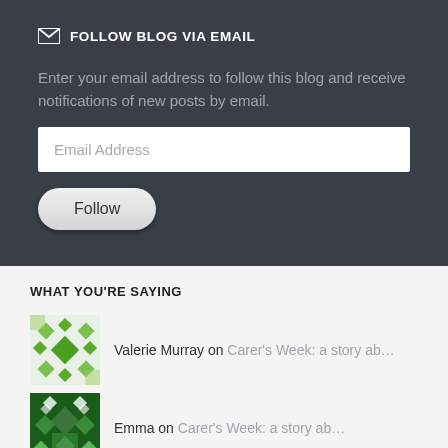FOLLOW BLOG VIA EMAIL
Enter your email address to follow this blog and receive notifications of new posts by email.
[Figure (screenshot): Email Address input field (white text input box)]
[Figure (screenshot): Follow button (rounded pill-shaped button with text 'Follow')]
WHAT YOU'RE SAYING
Valerie Murray on Carer's Week: a story ab…
Emma on Carer's Week: a story ab…